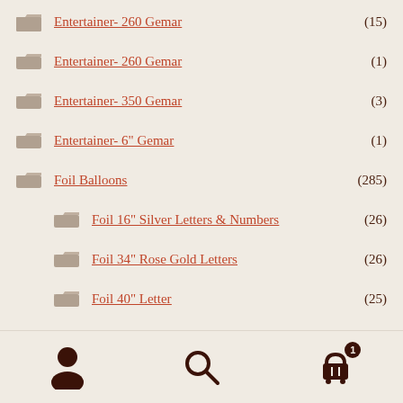Entertainer- 260 Gemar (15)
Entertainer- 260 Gemar (1)
Entertainer- 350 Gemar (3)
Entertainer- 6" Gemar (1)
Foil Balloons (285)
Foil 16" Silver Letters & Numbers (26)
Foil 34" Rose Gold Letters (26)
Foil 40" Letter (25)
Foil 40" Number (10)
Foil Airloonz (4)
Foil Anagram Orbz (17)
Foil Anagram Phrases (5)
[Figure (infographic): Bottom navigation bar with user profile icon, search icon, and shopping cart icon with badge showing 1 item]